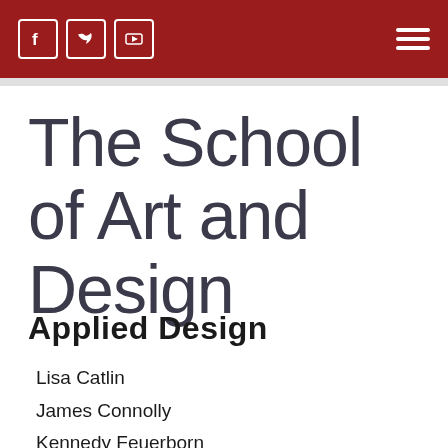Social media icons (Facebook, Twitter, YouTube) and hamburger menu
The School of Art and Design
Applied Design
Lisa Catlin
James Connolly
Kennedy Feuerborn
Tariq Johnson